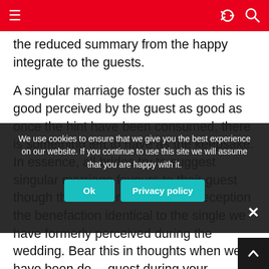Navigation bar with hamburger menu, share, and search icons
the reduced summary from the happy integrate to the guests.
A singular marriage foster such as this is good perceived by the guest as good as once the hint have been consumed, there is something left to have as the keepsake. In essence, all brides try to suggest singular marriage favours to their guest though there is zero worse than reception the benefaction identical to the single we have formerly perceived during the wedding. Bear this in thoughts when we have been de...g...sugg... guest during your marriage since people do recollect the singular marriage foster of the personalised...
We use cookies to ensure that we give you the best experience on our website. If you continue to use this site we will assume that you are happy with it.